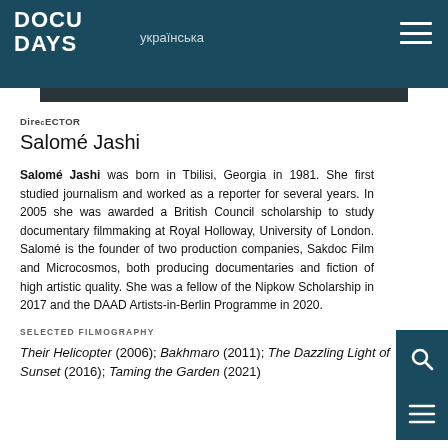DOCU DAYS | українська
DirecTOR
Salomé Jashi
Salomé Jashi was born in Tbilisi, Georgia in 1981. She first studied journalism and worked as a reporter for several years. In 2005 she was awarded a British Council scholarship to study documentary filmmaking at Royal Holloway, University of London. Salomé is the founder of two production companies, Sakdoc Film and Microcosmos, both producing documentaries and fiction of high artistic quality. She was a fellow of the Nipkow Scholarship in 2017 and the DAAD Artists-in-Berlin Programme in 2020.
SELECTED FILMOGRAPHY
Their Helicopter (2006); Bakhmaro (2011); The Dazzling Light of Sunset (2016); Taming the Garden (2021)